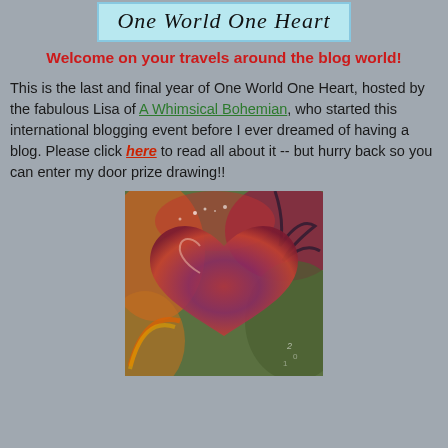[Figure (logo): One World One Heart cursive logo in a light blue rectangular box]
Welcome on your travels around the blog world!
This is the last and final year of One World One Heart, hosted by the fabulous Lisa of A Whimsical Bohemian, who started this international blogging event before I ever dreamed of having a blog. Please click here to read all about it -- but hurry back so you can enter my door prize drawing!!
[Figure (illustration): Colorful mixed-media painting of a heart in shades of red, purple, orange, and green]